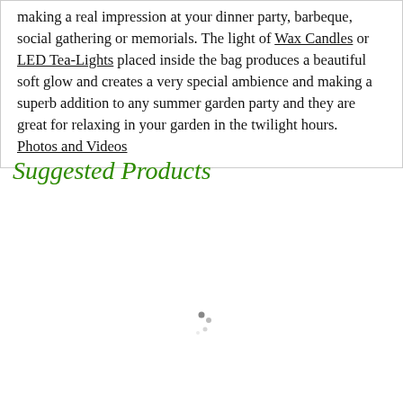making a real impression at your dinner party, barbeque, social gathering or memorials. The light of Wax Candles or LED Tea-Lights placed inside the bag produces a beautiful soft glow and creates a very special ambience and making a superb addition to any summer garden party and they are great for relaxing in your garden in the twilight hours. Photos and Videos
Suggested Products
[Figure (other): Loading spinner dots indicator]